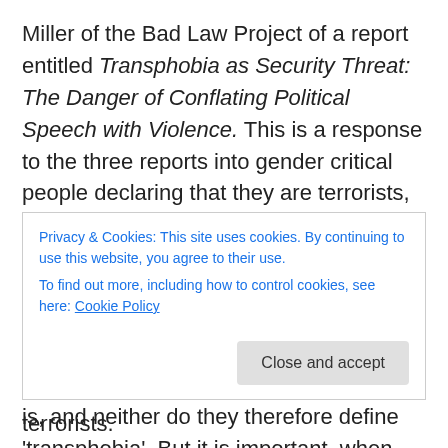Miller of the Bad Law Project of a report entitled Transphobia as Security Threat: The Danger of Conflating Political Speech with Violence. This is a response to the three reports into gender critical people declaring that they are terrorists, simply for what they believe. There are three such reports, two of which were written by universities. One was published by Northumbria university, another by one of the Oxford colleges. The reports don't define one what 'trans' is, and neither do they therefore define 'transphobia'. But it is important, when writing an kind of academic study to define first the subject under
Privacy & Cookies: This site uses cookies. By continuing to use this website, you agree to their use.
To find out more, including how to control cookies, see here: Cookie Policy
Close and accept
considered to be real Fascists and terrorists.